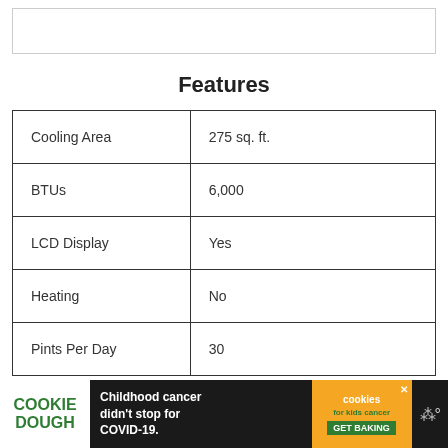[Figure (other): Empty image placeholder box at top of page]
Features
| Cooling Area | 275 sq. ft. |
| BTUs | 6,000 |
| LCD Display | Yes |
| Heating | No |
| Pints Per Day | 30 |
[Figure (infographic): Cookie Dough advertisement banner — 'Childhood cancer didn't stop for COVID-19. COOKIE DOUGH / cookies for kids cancer / GET BAKING']